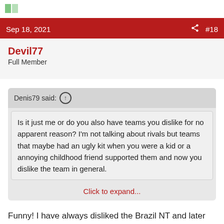Sep 18, 2021  #18
Devil77
Full Member
Denis79 said: ↑
Is it just me or do you also have teams you dislike for no apparent reason? I'm not talking about rivals but teams that maybe had an ugly kit when you were a kid or a annoying childhood friend supported them and now you dislike the team in general.
Click to expand...
Funny! I have always disliked the Brazil NT and later also Barcelona. The reason is a bit vague but I think I find them a